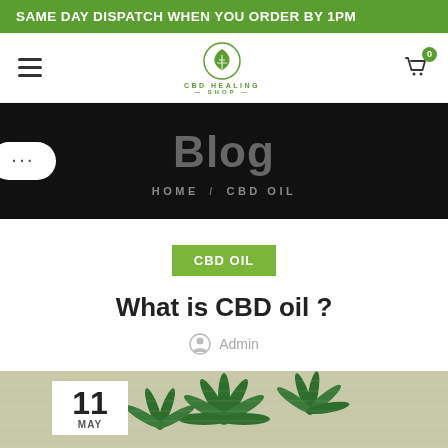SAME DAY DISPATCH WHEN YOU ORDER BY 1PM
[Figure (logo): CBD Healing Shop logo with leaf icon, navigation hamburger menu, and shopping cart badge showing 0]
[Figure (screenshot): Black hero banner with 'Blog' heading in large grey text, breadcrumb reading HOME / CBD OIL, and a white pill-shaped sidebar button with three dots]
CBD OIL
What is CBD oil ?
Admin
[Figure (photo): Cannabis/hemp leaves on a textured background with a white date box overlay showing '11 MAY']